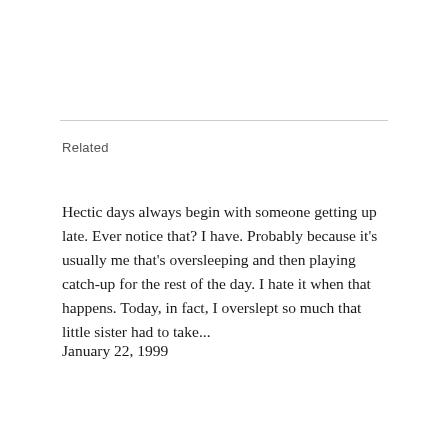Related
Hectic days always begin with someone getting up late. Ever notice that? I have. Probably because it's usually me that's oversleeping and then playing catch-up for the rest of the day. I hate it when that happens. Today, in fact, I overslept so much that little sister had to take...
January 22, 1999